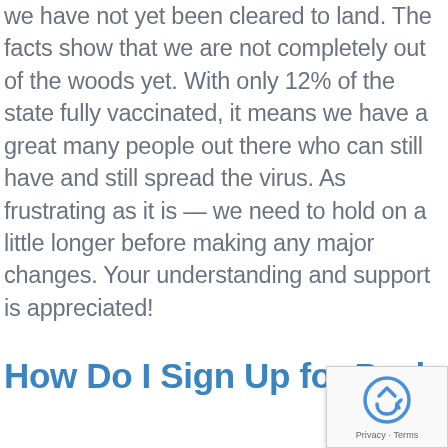we have not yet been cleared to land. The facts show that we are not completely out of the woods yet. With only 12% of the state fully vaccinated, it means we have a great many people out there who can still have and still spread the virus. As frustrating as it is — we need to hold on a little longer before making any major changes. Your understanding and support is appreciated!
How Do I Sign Up for Peabody Place?